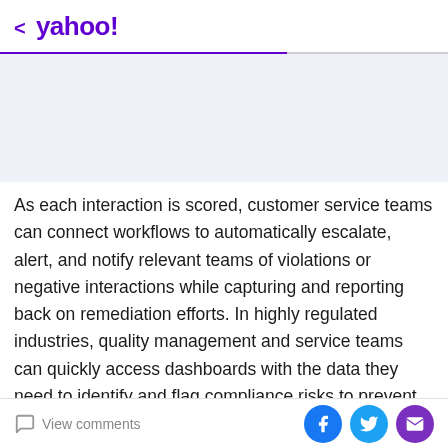< yahoo!
[Figure (photo): Light blue/gray image placeholder area below Yahoo header]
As each interaction is scored, customer service teams can connect workflows to automatically escalate, alert, and notify relevant teams of violations or negative interactions while capturing and reporting back on remediation efforts. In highly regulated industries, quality management and service teams can quickly access dashboards with the data they need to identify and flag compliance risks to prevent expensive fines.
Qualtrics' QM also automatically curates coaching
View comments